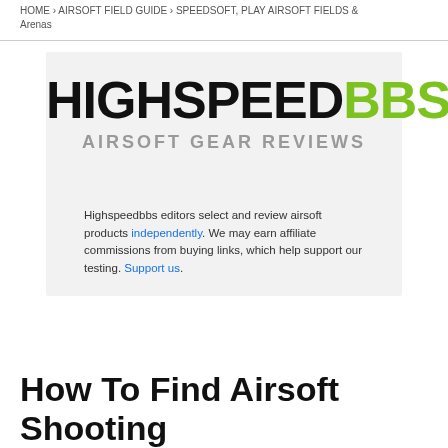HOME › AIRSOFT FIELD GUIDE › SPEEDSOFT, PLAY AIRSOFT FIELDS & Arenas
[Figure (logo): HighspeedBBS Airsoft Gear Reviews logo with tagline and editorial disclosure text reading: Highspeedbbs editors select and review airsoft products independently. We may earn affiliate commissions from buying links, which help support our testing. Support us.]
How To Find Airsoft Shooting